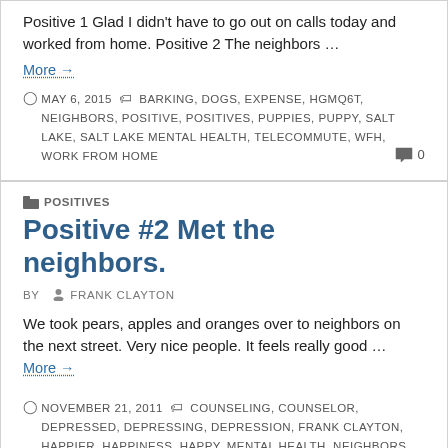Positive 1 Glad I didn't have to go out on calls today and worked from home. Positive 2 The neighbors ...
More →
MAY 6, 2015  BARKING, DOGS, EXPENSE, HGMQ6T, NEIGHBORS, POSITIVE, POSITIVES, PUPPIES, PUPPY, SALT LAKE, SALT LAKE MENTAL HEALTH, TELECOMMUTE, WFH, WORK FROM HOME  0
POSITIVES
Positive #2 Met the neighbors.
BY  FRANK CLAYTON
We took pears, apples and oranges over to neighbors on the next street. Very nice people. It feels really good ...
More →
NOVEMBER 21, 2011  COUNSELING, COUNSELOR, DEPRESSED, DEPRESSING, DEPRESSION, FRANK CLAYTON, HAPPIER, HAPPINESS, HAPPY, MENTAL HEALTH, NEIGHBORS, PEARS, PEOPLE, POSITIVE,